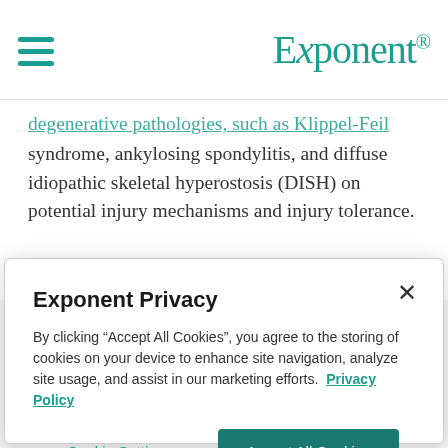Exponent
...degenerative pathologies, such as Klippel-Feil syndrome, ankylosing spondylitis, and diffuse idiopathic skeletal hyperostosis (DISH) on potential injury mechanisms and injury tolerance.
Exponent Privacy
By clicking "Accept All Cookies", you agree to the storing of cookies on your device to enhance site navigation, analyze site usage, and assist in our marketing efforts. Privacy Policy